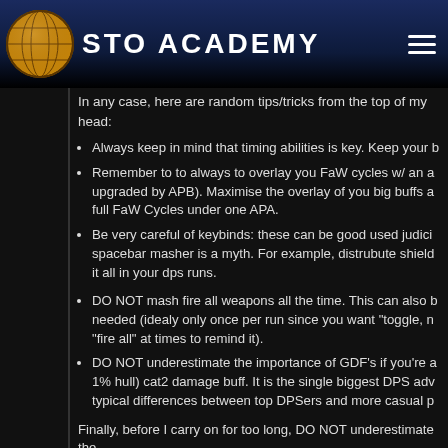STO ACADEMY
In any case, here are random tips/tricks from the top of my head:
Always keep in mind that timing abilities is key. Keep your b
Remember to to always to overlay you FaW cycles w/ an a upgraded by APB). Maximise the overlay of you big buffs a full FaW Cycles under one APA.
Be very careful of keybinds: these can be good used judici spacebar masher is a myth. For example, distrubute shield it all in your dps runs.
DO NOT mash fire all weapons all the time. This can also b needed (idealy only once per run since you want "toggle, n "fire all" at times to remind it).
DO NOT underestimate the importance of GDF's if you're a 1% hull) cat2 damage buff. It is the single biggest DPS adv typical differences between top DPSers and more casual p
Finally, before I carry on for too long, DO NOT underestimate the Fleet/Intel Fleet usage is notable DPS boost for all member should call TIF start, left, right, gate and tac cube...SIF for Scis, E channel runs and for good reason (although in 10K many still nee and faster runs (=higher DPS). To give you an idea, if there are n 100K mark in 50K and 75K channel teams (if I fly well). In 30K ch expectations. In a less than ideal PUG, where the avg. DPS of th